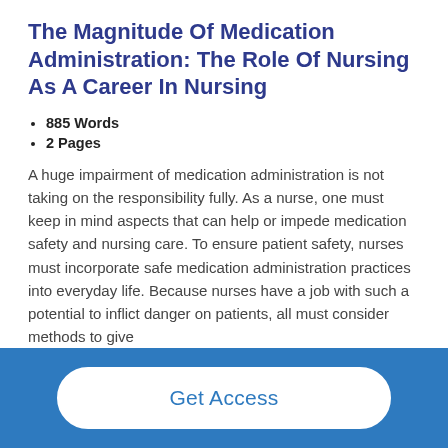The Magnitude Of Medication Administration: The Role Of Nursing As A Career In Nursing
885 Words
2 Pages
A huge impairment of medication administration is not taking on the responsibility fully. As a nurse, one must keep in mind aspects that can help or impede medication safety and nursing care. To ensure patient safety, nurses must incorporate safe medication administration practices into everyday life. Because nurses have a job with such a potential to inflict danger on patients, all must consider methods to give
Get Access